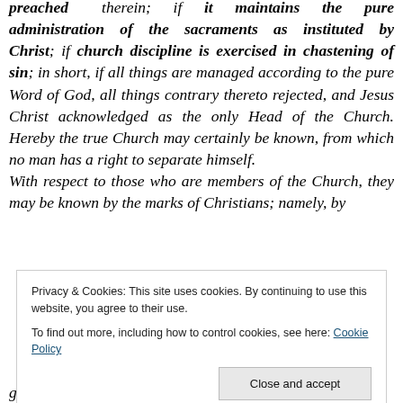preached therein; if it maintains the pure administration of the sacraments as instituted by Christ; if church discipline is exercised in chastening of sin; in short, if all things are managed according to the pure Word of God, all things contrary thereto rejected, and Jesus Christ acknowledged as the only Head of the Church. Hereby the true Church may certainly be known, from which no man has a right to separate himself. With respect to those who are members of the Church, they may be known by the marks of Christians; namely, by
Privacy & Cookies: This site uses cookies. By continuing to use this website, you agree to their use. To find out more, including how to control cookies, see here: Cookie Policy
great infirmities; but they fight against them through the